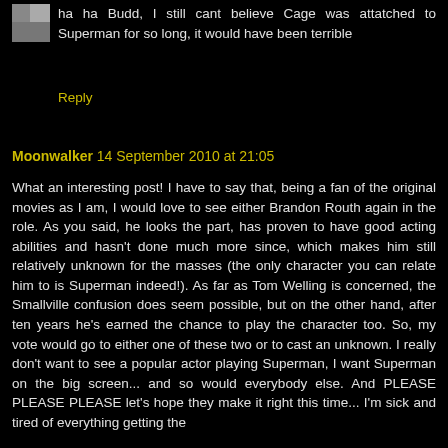ha ha Budd, I still cant believe Cage was attatched to Superman for so long, it would have been terrible
Reply
Moonwalker  14 September 2010 at 21:05
What an interesting post! I have to say that, being a fan of the original movies as I am, I would love to see either Brandon Routh again in the role. As you said, he looks the part, has proven to have good acting abilities and hasn't done much more since, which makes him still relatively unknown for the masses (the only character you can relate him to is Superman indeed!). As far as Tom Welling is concerned, the Smallville confusion does seem possible, but on the other hand, after ten years he's earned the chance to play the character too. So, my vote would go to either one of these two or to cast an unknown. I really don't want to see a popular actor playing Superman, I want Superman on the big screen... and so would everybody else. And PLEASE PLEASE PLEASE let's hope they make it right this time... I'm sick and tired of everything getting the